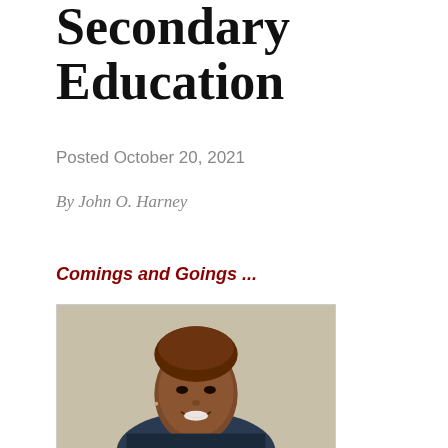Secondary Education
Posted October 20, 2021
By John O. Harney
Comings and Goings ...
[Figure (photo): Headshot portrait of a smiling woman wearing a dark jacket, with short hair, against a light background.]